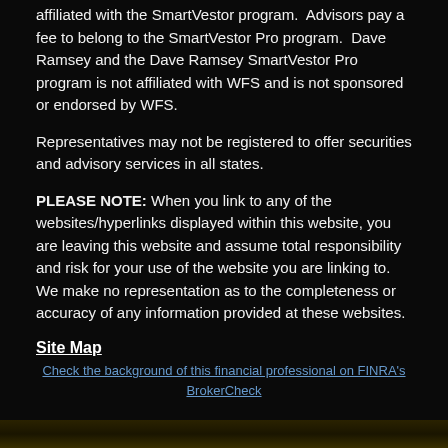affiliated with the SmartVestor program.  Advisors pay a fee to belong to the SmartVestor Pro program.  Dave Ramsey and the Dave Ramsey SmartVestor Pro program is not affiliated with WFS and is not sponsored or endorsed by WFS.
Representatives may not be registered to offer securities and advisory services in all states.
PLEASE NOTE: When you link to any of the websites/hyperlinks displayed within this website, you are leaving this website and assume total responsibility and risk for your use of the website you are linking to. We make no representation as to the completeness or accuracy of any information provided at these websites.
Site Map
Check the background of this financial professional on FINRA's BrokerCheck